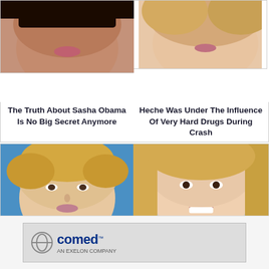[Figure (photo): Close-up photo of a young Black woman's face (lower portion), dark hair]
The Truth About Sasha Obama Is No Big Secret Anymore
[Figure (photo): Close-up photo of a white woman's face, blonde hair, partial view cut off on right]
Heche Was Under The Influence Of Very Hard Drugs During Crash
[Figure (photo): Photo of Anne Heche, blonde woman with short wavy hair, looking at camera, blue background]
Anne Heche's Crash Details Just Went To Another Level
[Figure (photo): Photo of Ivanka Trump, blonde woman smiling, partial view cut off on right]
Ivanka Has Worn Sketchy Outfits, Here Are The Most Inappropriate
[Figure (logo): ComEd - An Exelon Company advertisement banner]